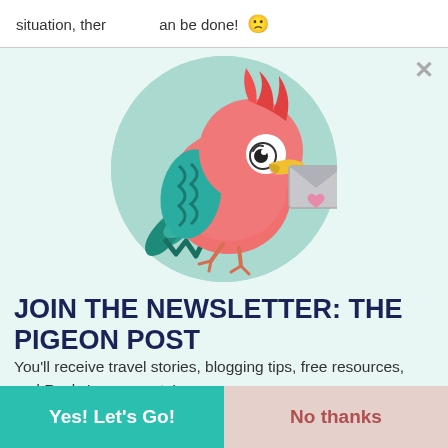situation, there... ...an be done! 😞
[Figure (illustration): Cartoon parrot/pigeon holding a letter envelope in its beak, with teal/blue feathers and salmon/pink body, sitting inside a teal circular background.]
JOIN THE NEWSLETTER: THE PIGEON POST
You'll receive travel stories, blogging tips, free resources, and Rocky's new posts!
Yes! Let's Go!
No thanks